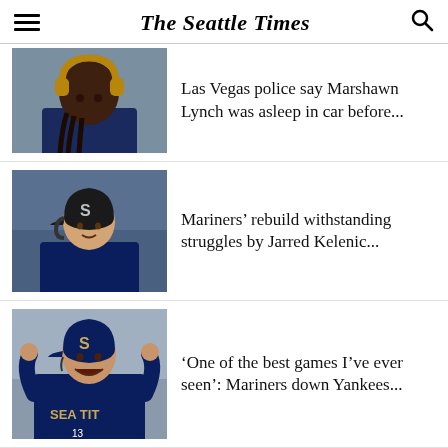The Seattle Times
Las Vegas police say Marshawn Lynch was asleep in car before...
[Figure (photo): Photo of Marshawn Lynch wearing gold headphones]
Mariners' rebuild withstanding struggles by Jarred Kelenic...
[Figure (photo): Photo of Jarred Kelenic in Mariners uniform and batting helmet]
'One of the best games I've ever seen': Mariners down Yankees...
[Figure (photo): Photo of Mariners player in SEA TIT jersey celebrating]
Were boos directed at Russell